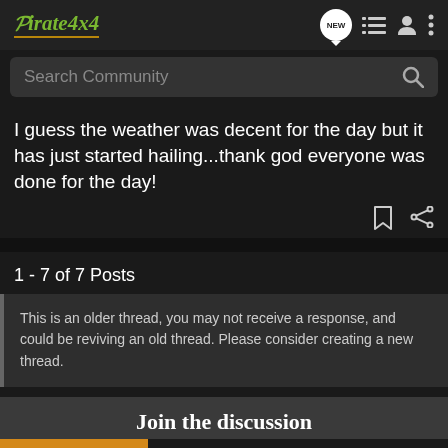Pirate4x4
Search Community
I guess the weather was decent for the day but it has just started hailing...thank god everyone was done for the day!
1 - 7 of 7 Posts
This is an older thread, you may not receive a response, and could be reviving an old thread. Please consider creating a new thread.
Join the discussion
[Figure (screenshot): ON X OFFROAD advertisement banner - OFFROAD TRAIL MAPS & GPS, Try for Free]